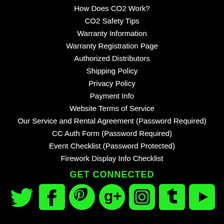How Does CO2 Work?
CO2 Safety Tips
Warranty Information
Warranty Registration Page
Authorized Distributors
Shipping Policy
Privacy Policy
Payment Info
Website Terms of Service
Our Service and Rental Agreement (Password Required)
CC Auth Form (Password Required)
Event Checklist (Password Protected)
Firework Display Info Checklist
GET CONNECTED
[Figure (infographic): Social media icons row: Twitter bird, Facebook f, Pinterest p, Google+, Instagram camera, Tumblr t, YouTube play button — all in green on black background]